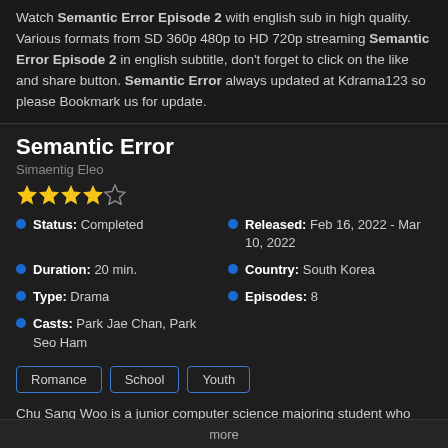Watch Semantic Error Episode 2 with english sub in high quality. Various formats from SD 360p 480p to HD 720p streaming Semantic Error Episode 2 in english subtitle, don't forget to click on the like and share button. Semantic Error always updated at Kdrama123 so please Bookmark us for update.
Semantic Error
Simaentig Eleo
[Figure (other): 4 out of 5 star rating shown with yellow filled stars and one empty star]
Status: Completed
Released: Feb 16, 2022 - Mar 10, 2022
Duration: 20 min.
Country: South Korea
Type: Drama
Episodes: 8
Casts: Park Jae Chan, Park Seo Ham
Romance   School   Youth
Chu Sang Woo is a junior computer science majoring student who prizes reason, rules, and a rigid sense of what is right above all else. As part of his university work, he is told to work on a group project for
more